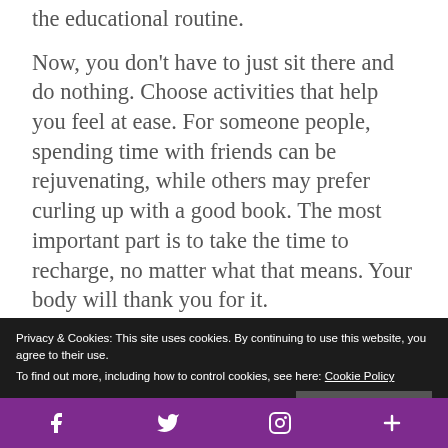the educational routine.
Now, you don't have to just sit there and do nothing. Choose activities that help you feel at ease. For someone people, spending time with friends can be rejuvenating, while others may prefer curling up with a good book. The most important part is to take the time to recharge, no matter what that means. Your body will thank you for it.
The post 6 Tips For Staying Healthy in College appeared first on Lifehack.
Source: Lifestyle
Privacy & Cookies: This site uses cookies. By continuing to use this website, you agree to their use.
To find out more, including how to control cookies, see here: Cookie Policy
Close and accept
[Figure (other): Bottom navigation bar with social media icons: Facebook, Twitter, Instagram, and a plus icon, on a purple background]